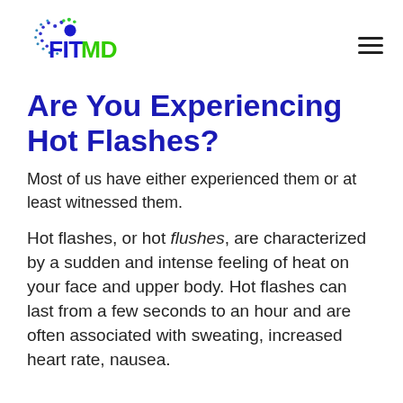[Figure (logo): FitMD logo with blue and green dot pattern and FITMD text]
Are You Experiencing Hot Flashes?
Most of us have either experienced them or at least witnessed them.
Hot flashes, or hot flushes, are characterized by a sudden and intense feeling of heat on your face and upper body. Hot flashes can last from a few seconds to an hour and are often associated with sweating, increased heart rate, nausea.